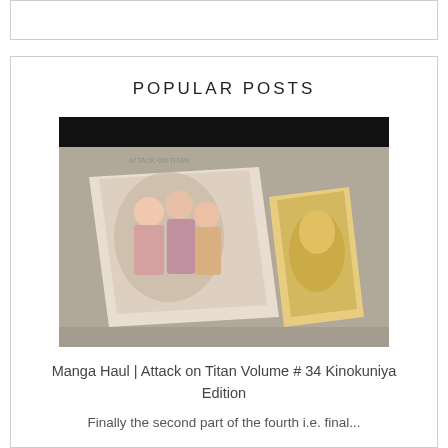[Figure (other): Empty box at top of page, white with thin border]
POPULAR POSTS
[Figure (photo): Photo of two manga books laid on a flat surface - Attack on Titan manga volumes, one showing character illustrations, placed on a wooden-like background. The top portion of the image has a black bar.]
Manga Haul | Attack on Titan Volume # 34 Kinokuniya Edition
Finally the second part of the fourth i.e. final...